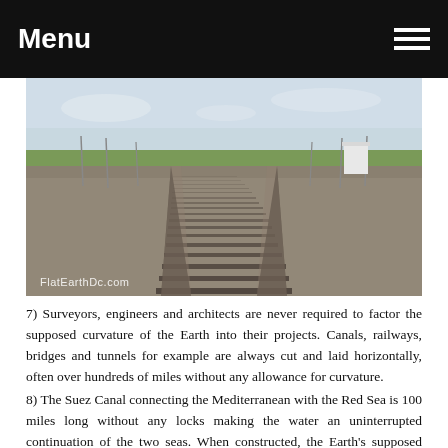Menu
[Figure (photo): A long straight railroad track receding to the horizon across flat terrain with sparse scrubland and utility poles. Watermark reads 'FlatEarthDc.com'.]
7) Surveyors, engineers and architects are never required to factor the supposed curvature of the Earth into their projects. Canals, railways, bridges and tunnels for example are always cut and laid horizontally, often over hundreds of miles without any allowance for curvature.
8) The Suez Canal connecting the Mediterranean with the Red Sea is 100 miles long without any locks making the water an uninterrupted continuation of the two seas. When constructed, the Earth's supposed curvature was not taken into account, it was dug along a horizontal datum line 26 feet below sea level.